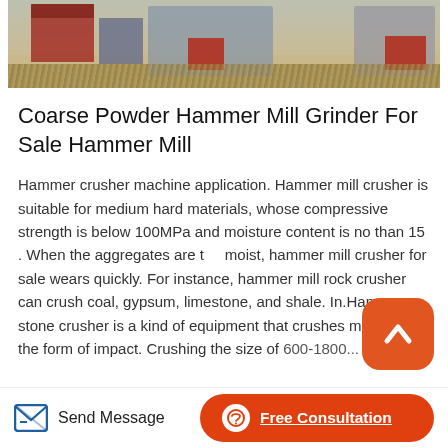[Figure (illustration): Illustrated scene of industrial/mining equipment buildings with red doors and structures against a yellowish-brown background, partially cropped at the top of the page.]
Coarse Powder Hammer Mill Grinder For Sale Hammer Mill
Hammer crusher machine application. Hammer mill crusher is suitable for medium hard materials, whose compressive strength is below 100MPa and moisture content is no than 15 . When the aggregates are too moist, hammer mill crusher for sale wears quickly. For instance, hammer mill rock crusher can crush coal, gypsum, limestone, and shale. In.Hammer stone crusher is a kind of equipment that crushes materials in the form of impact. Crushing the size of 600-1800...
Send Message   Free Consultation